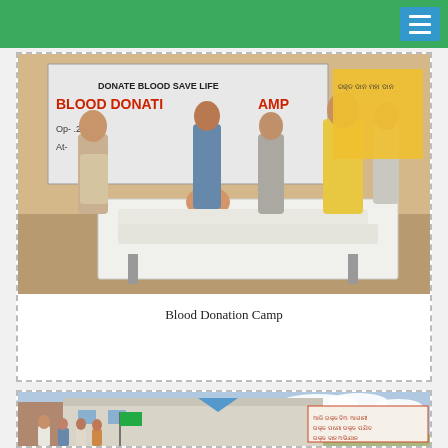[Figure (photo): Blood donation camp photo: a person lying on a table donating blood surrounded by several people including a doctor with stethoscope and others watching, with a banner reading 'Donate Blood Save Life - Blood Donation Camp' in the background]
Blood Donation Camp
[Figure (photo): Outdoor scene with a building in the background and people gathering, someone holding a green flag, with a banner with Odia text visible on the right side]